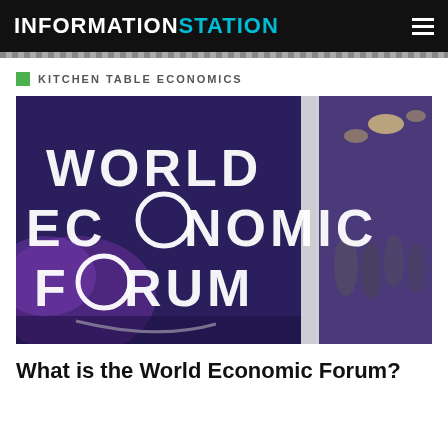INFORMATION STATION
KITCHEN TABLE ECONOMICS
[Figure (photo): Photograph of the World Economic Forum sign/logo panel in a conference venue with blurred attendees in the background under purple ambient lighting.]
What is the World Economic Forum?